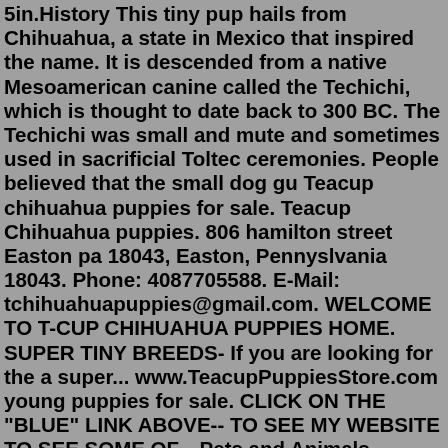5in.History This tiny pup hails from Chihuahua, a state in Mexico that inspired the name. It is descended from a native Mesoamerican canine called the Techichi, which is thought to date back to 300 BC. The Techichi was small and mute and sometimes used in sacrificial Toltec ceremonies. People believed that the small dog gu Teacup chihuahua puppies for sale. Teacup Chihuahua puppies. 806 hamilton street Easton pa 18043, Easton, Pennyslvania 18043. Phone: 4087705588. E-Mail: tchihuahuapuppies@gmail.com. WELCOME TO T-CUP CHIHUAHUA PUPPIES HOME. SUPER TINY BREEDS- If you are looking for the a super... www.TeacupPuppiesStore.com young puppies for sale. CLICK ON THE "BLUE" LINK ABOVE-- TO SEE MY WEBSITE TO SEE SOME OF... Pets and Animals Minneapolis 950 $ View pictures SUPER TINY BREEDS- If you are looking for the a super... www.TeacupPuppiesStore.com young puppies for sale.$500 for female puppies, will be right at 5lbs. Price includes a $100 dollar credit at twin lake vets,